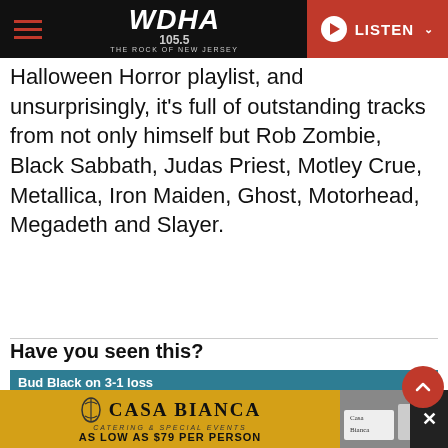WDHA 105.5 THE ROCK OF NEW JERSEY — LISTEN
Halloween Horror playlist, and unsurprisingly, it's full of outstanding tracks from not only himself but Rob Zombie, Black Sabbath, Judas Priest, Motley Crue, Metallica, Iron Maiden, Ghost, Motorhead, Megadeth and Slayer.
Have you seen this?
[Figure (screenshot): Embedded video player thumbnail showing 'Bud Black on 3-1 loss' with Colorado Rockies branding, a mute/unmute button, and a hamburger menu icon on a teal header bar.]
[Figure (screenshot): Advertisement for Casa Bianca catering and special events. Text reads: CASA BIANCA, CATERING & SPECIAL EVENTS, AS LOW AS $79 PER PERSON. Gold/yellow background with restaurant photo on right.]